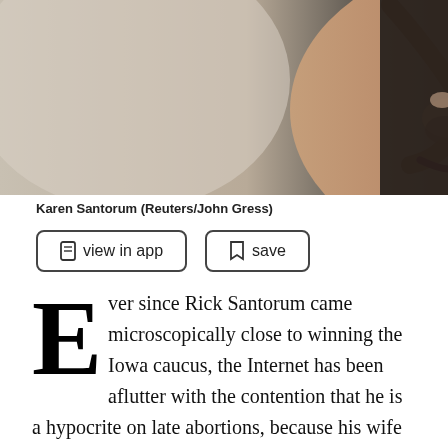[Figure (photo): Close-up profile photo of a person's face (Karen Santorum), with blurred light and dark background, Reuters/John Gress]
Karen Santorum (Reuters/John Gress)
view in app
save
Ever since Rick Santorum came microscopically close to winning the Iowa caucus, the Internet has been aflutter with the contention that he is a hypocrite on late abortions, because his wife allegedly had one. When Karen Santorum was close to death due to an infection, it is said, the author of the so-called Partial Birth Abortion Ban was party to an induced labor that